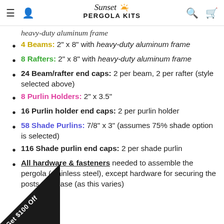Sunset Pergola Kits
heavy-duty aluminum frame
4 Beams: 2" x 8" with heavy-duty aluminum frame
8 Rafters: 2" x 8" with heavy-duty aluminum frame
24 Beam/rafter end caps: 2 per beam, 2 per rafter (style selected above)
8 Purlin Holders: 2" x 3.5"
16 Purlin holder end caps: 2 per purlin holder
58 Shade Purlins: 7/8" x 3" (assumes 75% shade option is selected)
116 Shade purlin end caps: 2 per shade purlin
All hardware & fasteners needed to assemble the pergola (stainless steel), except hardware for securing the posts to a base (as this varies)